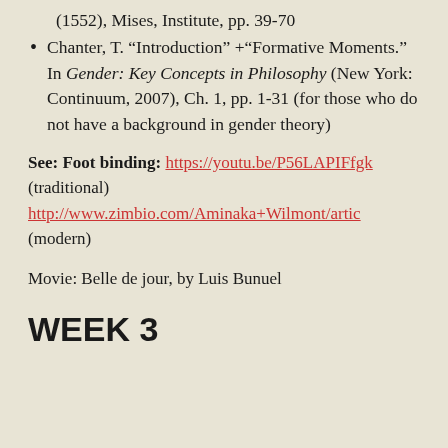(1552), Mises, Institute, pp. 39-70
Chanter, T. “Introduction” +“Formative Moments.” In Gender: Key Concepts in Philosophy (New York: Continuum, 2007), Ch. 1, pp. 1-31 (for those who do not have a background in gender theory)
See: Foot binding: https://youtu.be/P56LAPIFfgk (traditional)
http://www.zimbio.com/Aminaka+Wilmont/artic (modern)
Movie: Belle de jour, by Luis Bunuel
WEEK 3